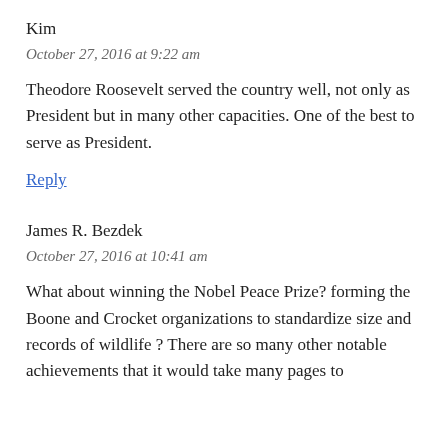Kim
October 27, 2016 at 9:22 am
Theodore Roosevelt served the country well, not only as President but in many other capacities. One of the best to serve as President.
Reply
James R. Bezdek
October 27, 2016 at 10:41 am
What about winning the Nobel Peace Prize? forming the Boone and Crocket organizations to standardize size and records of wildlife ? There are so many other notable achievements that it would take many pages to